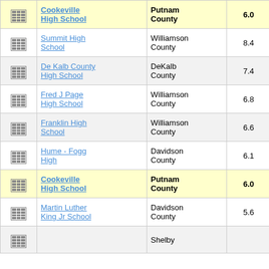|  | School | County | Score | Num |
| --- | --- | --- | --- | --- |
| [icon] | Cookeville High School | Putnam County | 6.0 | 5 |
| [icon] | Summit High School | Williamson County | 8.4 | 5 |
| [icon] | De Kalb County High School | DeKalb County | 7.4 | 5 |
| [icon] | Fred J Page High School | Williamson County | 6.8 | 5 |
| [icon] | Franklin High School | Williamson County | 6.6 | 5 |
| [icon] | Hume - Fogg High | Davidson County | 6.1 | 5 |
| [icon] | Cookeville High School | Putnam County | 6.0 | 5 |
| [icon] | Martin Luther King Jr School | Davidson County | 5.6 | 5 |
| [icon] |  | Shelby |  |  |